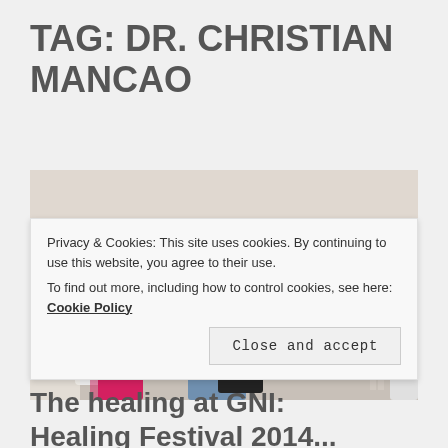TAG: DR. CHRISTIAN MANCAO
[Figure (photo): Group of people in a medical/healing session setting. Several individuals seated while others in pink shirts appear to be providing hands-on therapy or massage. Indoor setting with white walls.]
Privacy & Cookies: This site uses cookies. By continuing to use this website, you agree to their use.
To find out more, including how to control cookies, see here: Cookie Policy
Close and accept
The healing at GNI: Healing Festival 2014...